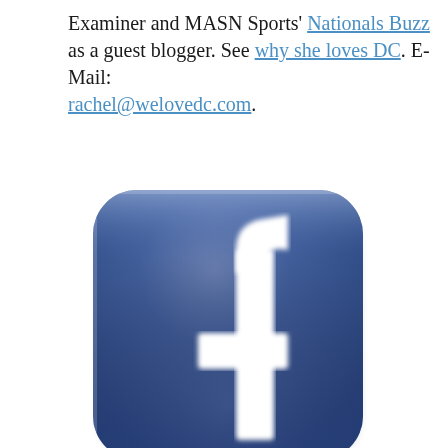Examiner and MASN Sports' Nationals Buzz as a guest blogger. See why she loves DC. E-Mail: rachel@welovedc.com.
[Figure (logo): Facebook logo icon — square with rounded corners, blue gradient background, white lowercase 'f' lettermark]